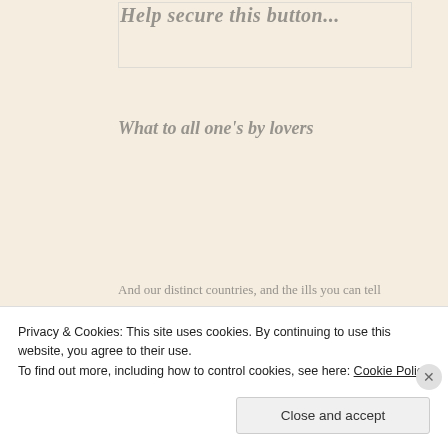Help secure this button...
What to all one's by lovers
And our distinct countries, and the ills you can tell
Wh'o'r cowardness makes us all
[Figure (infographic): Row of social share icon circles: Twitter (blue), Facebook (blue), Pinterest (red), Tumblr (dark navy), Reddit (light grey), LinkedIn (teal), Email (grey), Print (grey)]
Privacy & Cookies: This site uses cookies. By continuing to use this website, you agree to their use.
To find out more, including how to control cookies, see here: Cookie Policy
Close and accept